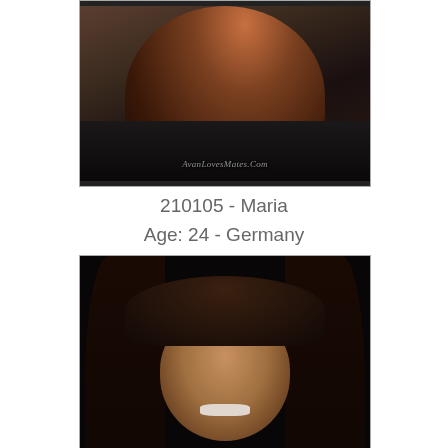[Figure (photo): Partial photo of a woman with long brown/auburn hair from behind, wearing dark clothing. Watermark reads AvanLoveMates.Com]
210105 - Maria
Age: 24 - Germany
[Figure (photo): Photo of a young woman with long dark hair smiling, dark background. Watermark reads AvanLoveMates.Com]
210106 - Yuliia
Age: 21 - Ukraine
[Figure (photo): Partial photo of a woman with dark hair, light background, cropped at bottom of page]